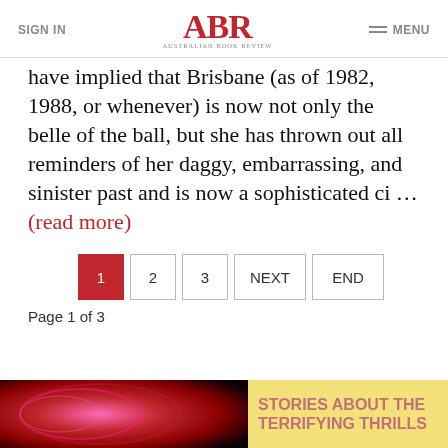SIGN IN | ABR Australian Book Review | MENU
have implied that Brisbane (as of 1982, 1988, or whenever) is now not only the belle of the ball, but she has thrown out all reminders of her daggy, embarrassing, and sinister past and is now a sophisticated ci … (read more)
1  2  3  NEXT  END
Page 1 of 3
[Figure (photo): Dark artistic image with red and pink swirling abstract pattern on black background]
STORIES ABOUT THE TERRIFYING THRILLS